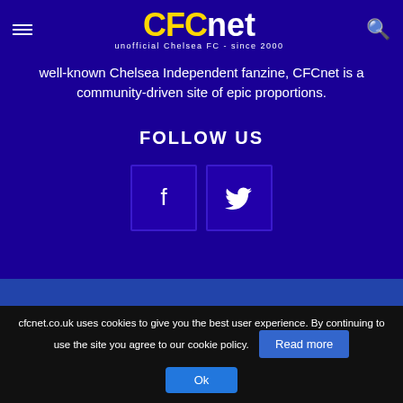CFCnet - unofficial Chelsea FC - since 2000
well-known Chelsea Independent fanzine, CFCnet is a community-driven site of epic proportions.
FOLLOW US
[Figure (other): Facebook and Twitter social media icon buttons]
Home | News | Tips | Live Streams | Cookie Policy | Privacy Policy | Gambling Safety | Contact
© All text (c) 2000 - 2022 | Photography (c) Empics / Getty Images / Darren
cfcnet.co.uk uses cookies to give you the best user experience. By continuing to use the site you agree to our cookie policy.
Read more
Ok